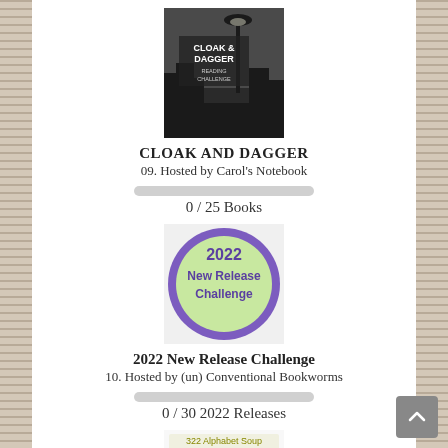[Figure (photo): Cloak and Dagger Reading Challenge book cover image, black and white with lamp post and city silhouette.]
CLOAK AND DAGGER
09. Hosted by Carol's Notebook
[Figure (other): Progress bar showing 0 of 25 books completed]
0 / 25 Books
[Figure (logo): 2022 New Release Challenge badge — green circle with purple text]
2022 New Release Challenge
10. Hosted by (un) Conventional Bookworms
[Figure (other): Progress bar showing 0 of 30 2022 releases completed]
0 / 30 2022 Releases
[Figure (logo): Alphabet Soup Reading Challenge badge partially visible at bottom]